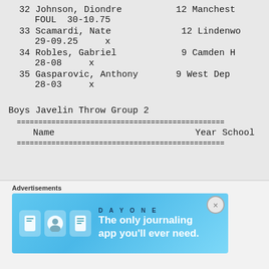32 Johnson, Diondre   12 Manchester
   FOUL  30-10.75
33 Scamardi, Nate   12 Lindenwood
   29-09.25    x
34 Robles, Gabriel   9 Camden Hill
   28-08    x
35 Gasparovic, Anthony   9 West Dep
   28-03    x
Boys Javelin Throw Group 2
==============================================
   Name                         Year School
==============================================
[Figure (infographic): Advertisement banner for DayOne journaling app with text 'The only journaling app you'll ever need.']